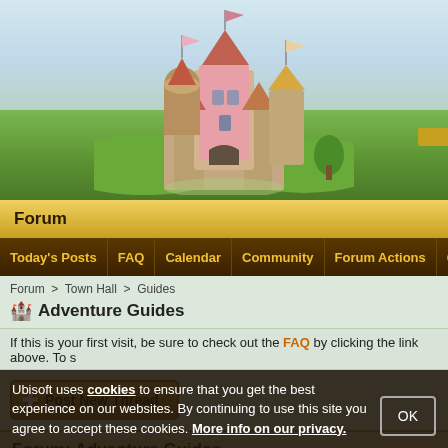[Figure (illustration): Fantasy castle illustration with pink and stone towers, flags, surrounded by green rolling hills and a light blue sky]
Forum
Today's Posts  FAQ  Calendar  Community  Forum Actions  Quick Links
Forum > Town Hall > Guides
Adventure Guides
If this is your first visit, be sure to check out the FAQ by clicking the link above. To s
Post New Thread
Forum: Adventure Guides
Ubisoft uses cookies to ensure that you get the best experience on our websites. By continuing to use this site you agree to accept these cookies. More info on our privacy.